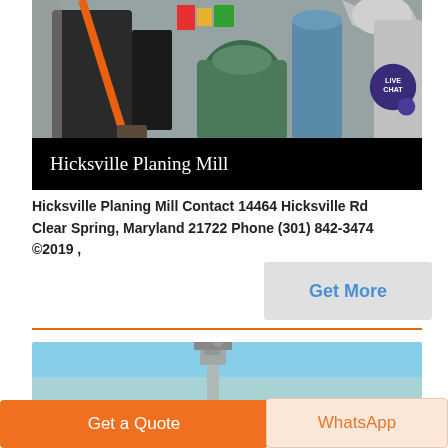[Figure (photo): Industrial planing mill interior with machinery — dark cylinders, green machine, orange broom, ventilation ducts]
Hicksville Planing Mill
Hicksville Planing Mill Contact 14464 Hicksville Rd Clear Spring, Maryland 21722 Phone (301) 842-3474 ©2019 ,
Get More
[Figure (photo): Industrial tower or silo structure against a blue sky background]
Get a Quote
WhatsApp